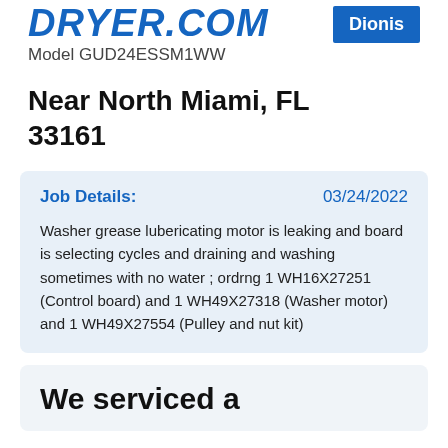DRYER.COM
Dionis
Model GUD24ESSM1WW
Near North Miami, FL 33161
Job Details:
03/24/2022
Washer grease lubericating motor is leaking and board is selecting cycles and draining and washing sometimes with no water ; ordrng 1 WH16X27251 (Control board) and 1 WH49X27318 (Washer motor) and 1 WH49X27554 (Pulley and nut kit)
We serviced a